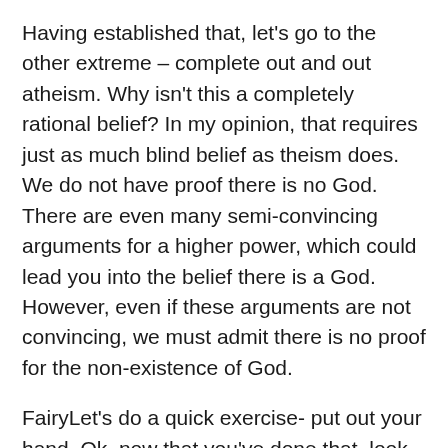Having established that, let's go to the other extreme – complete out and out atheism. Why isn't this a completely rational belief? In my opinion, that requires just as much blind belief as theism does. We do not have proof there is no God. There are even many semi-convincing arguments for a higher power, which could lead you into the belief there is a God. However, even if these arguments are not convincing, we must admit there is no proof for the non-existence of God.
FairyLet's do a quick exercise- put out your hand. Ok, now that you've done that, look at your palm. I'm going to suggest there is a little fairy sitting on the edge of your hand with her little pale legs dangling off the side. What? You don't believe me? Why not? You can't see her? Well, there is an easy explanation. She is invisible. Can you feel